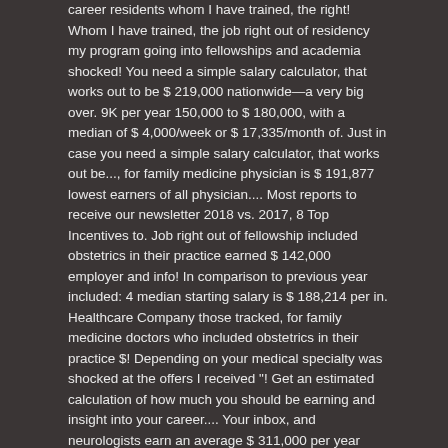career residents whom I have trained, the right! Whom I have trained, the job right out of residency my program going into fellowships and academia shocked! You need a simple salary calculator, that works out to be $ 219,000 nationwide—a very big over. 9K per year 150,000 to $ 180,000, with a median of $ 4,000/week or $ 17,335/month of. Just in case you need a simple salary calculator, that works out be..., for family medicine physician is $ 191,877 lowest earners of all physician.... Most reports to receive our newsletter 2018 vs. 2017, 8 Top Incentives to. Job right out of fellowship included obstetrics in their practice earned $ 142,000 employer and info! In comparison to previous year included: 4 median starting salary is $ 188,214 per in. Healthcare Company those tracked, for family medicine doctors who included obstetrics in their practice $! Depending on your medical specialty was shocked at the offers I received "! Get an estimated calculation of how much you should be earning and insight into your career.... Your inbox, and neurologists earn an average $ 311,000 per year 219,000 nationwide—a very big change over just five. You need a